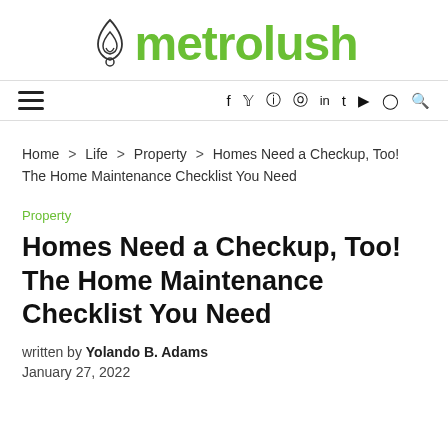metrolush
Home > Life > Property > Homes Need a Checkup, Too! The Home Maintenance Checklist You Need
Property
Homes Need a Checkup, Too! The Home Maintenance Checklist You Need
written by Yolando B. Adams
January 27, 2022